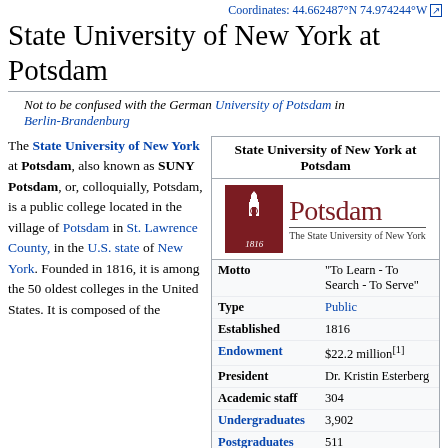Coordinates: 44.662487°N 74.974244°W
State University of New York at Potsdam
Not to be confused with the German University of Potsdam in Berlin-Brandenburg
The State University of New York at Potsdam, also known as SUNY Potsdam, or, colloquially, Potsdam, is a public college located in the village of Potsdam in St. Lawrence County, in the U.S. state of New York. Founded in 1816, it is among the 50 oldest colleges in the United States. It is composed of the
| Field | Value |
| --- | --- |
| State University of New York at Potsdam |  |
| Motto | "To Learn - To Search - To Serve" |
| Type | Public |
| Established | 1816 |
| Endowment | $22.2 million[1] |
| President | Dr. Kristin Esterberg |
| Academic staff | 304 |
| Undergraduates | 3,902 |
| Postgraduates | 511 |
| Location | Potsdam, New York, |